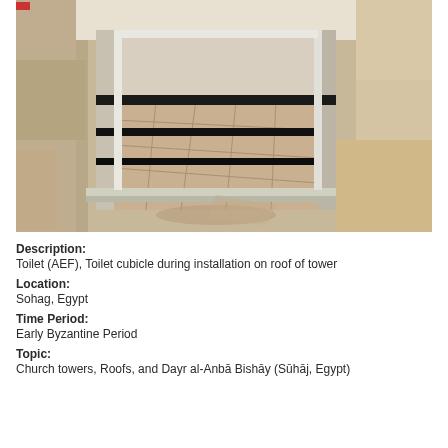[Figure (photo): Photograph of a toilet cubicle being installed on the roof of a tower. The interior of the cubicle is visible showing tiled floor panels and metal framing, taken from slightly above looking down inside. Sandy/tan colored stone walls are visible around the exterior.]
Description:
Toilet (AEF), Toilet cubicle during installation on roof of tower
Location:
Sohag, Egypt
Time Period:
Early Byzantine Period
Topic:
Church towers, Roofs, and Dayr al-Anbā Bishāy (Sūhāj, Egypt)